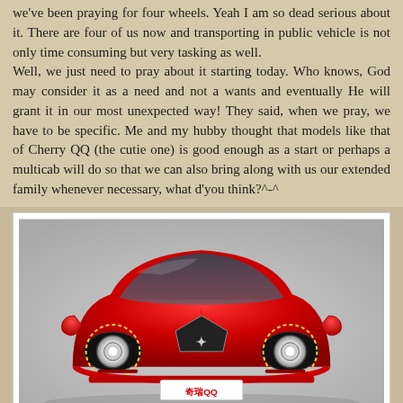we've been praying for four wheels. Yeah I am so dead serious about it. There are four of us now and transporting in public vehicle is not only time consuming but very tasking as well.
Well, we just need to pray about it starting today. Who knows, God may consider it as a need and not a wants and eventually He will grant it in our most unexpected way! They said, when we pray, we have to be specific. Me and my hubby thought that models like that of Cherry QQ (the cutie one) is good enough as a start or perhaps a multicab will do so that we can also bring along with us our extended family whenever necessary, what d'you think?^-^
[Figure (photo): Front view of a red Chery QQ compact car against a light gray background, showing headlights, logo, and license plate reading 奇瑞QQ]